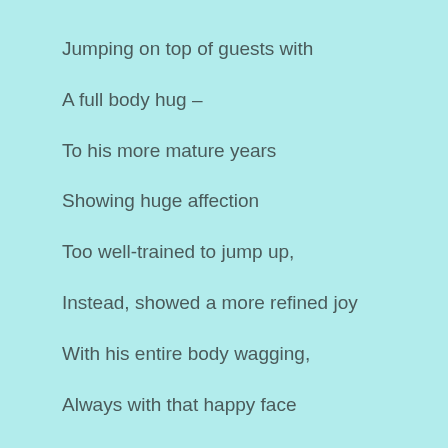Jumping on top of guests with
A full body hug –
To his more mature years
Showing huge affection
Too well-trained to jump up,
Instead, showed a more refined joy
With his entire body wagging,
Always with that happy face